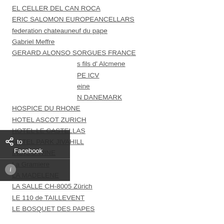EL CELLER DEL CAN ROCA
ERIC SALOMON EUROPEANCELLARS
federation chateauneuf du pape
Gabriel Meffre
GERARD ALONSO SORGUES FRANCE
s fils d' Alcmene
PE ICV
eine
N DANEMARK
HOSPICE DU RHONE
HOTEL ASCOT ZURICH
HOTEL LE CASTELLAS
HOTEL PARK JIVAHILL
INDIGO WINE
La Gramiere
LA MADELENE
LA SALLE CH-8005 Zürich
LE 110 de TAILLEVENT
LE BOSQUET DES PAPES